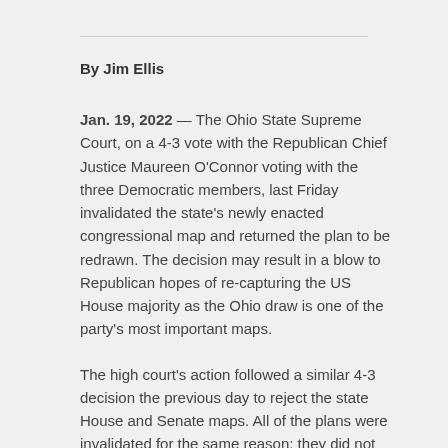By Jim Ellis
Jan. 19, 2022 — The Ohio State Supreme Court, on a 4-3 vote with the Republican Chief Justice Maureen O'Connor voting with the three Democratic members, last Friday invalidated the state's newly enacted congressional map and returned the plan to be redrawn. The decision may result in a blow to Republican hopes of re-capturing the US House majority as the Ohio draw is one of the party's most important maps.
The high court's action followed a similar 4-3 decision the previous day to reject the state House and Senate maps. All of the plans were invalidated for the same reason: they did not meet the competitiveness provision in the Ohio redistricting constitution that the amendment...